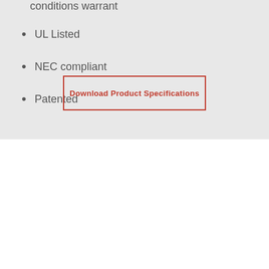conditions warrant
UL Listed
NEC compliant
Patented
Download Product Specifications